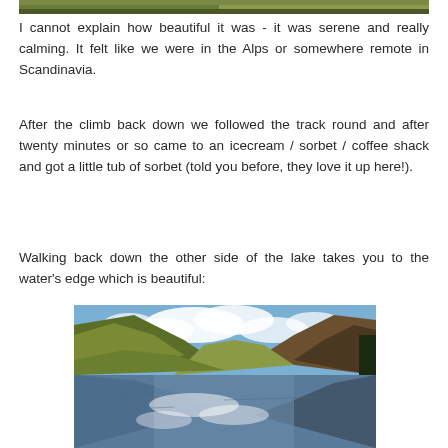[Figure (photo): Partial top of a nature/landscape photo, cropped at the top of the page]
I cannot explain how beautiful it was - it was serene and really calming. It felt like we were in the Alps or somewhere remote in Scandinavia.
After the climb back down we followed the track round and after twenty minutes or so came to an icecream / sorbet / coffee shack and got a little tub of sorbet (told you before, they love it up here!).
Walking back down the other side of the lake takes you to the water's edge which is beautiful:
[Figure (photo): Photograph of a serene lake with mountains reflected in calm water, blue sky with white clouds, green and brown hillsides]